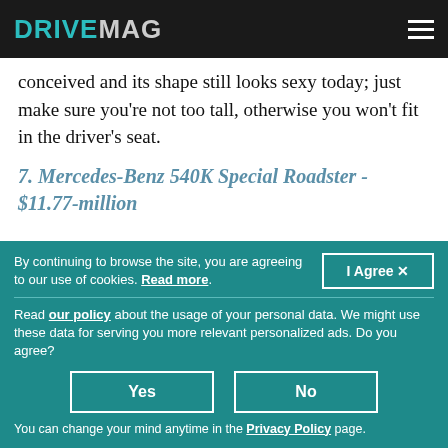DRIVEMAG
conceived and its shape still looks sexy today; just make sure you're not too tall, otherwise you won't fit in the driver's seat.
7. Mercedes-Benz 540K Special Roadster - $11.77-million
By continuing to browse the site, you are agreeing to our use of cookies. Read more.
Read our policy about the usage of your personal data. We might use these data for serving you more relevant personalized ads. Do you agree?
Yes   No
You can change your mind anytime in the Privacy Policy page.